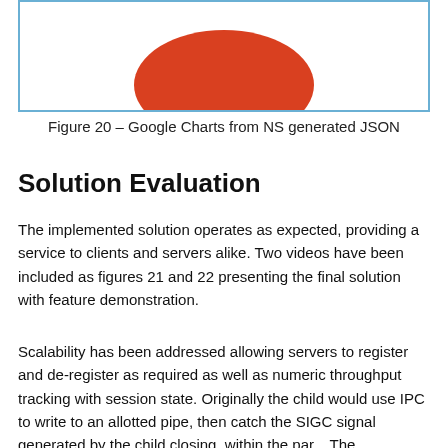[Figure (illustration): Partial view of a red ellipse/circle shape at the bottom of a figure box with a blue border, representing a chart or diagram from NS generated JSON]
Figure 20 – Google Charts from NS generated JSON
Solution Evaluation
The implemented solution operates as expected, providing a service to clients and servers alike. Two videos have been included as figures 21 and 22 presenting the final solution with feature demonstration.
Scalability has been addressed allowing servers to register and de-register as required as well as numeric throughput tracking with session state. Originally the child would use IPC to write to an allotted pipe, then catch the SIGC... signal generated by the child closing, within the par... The...